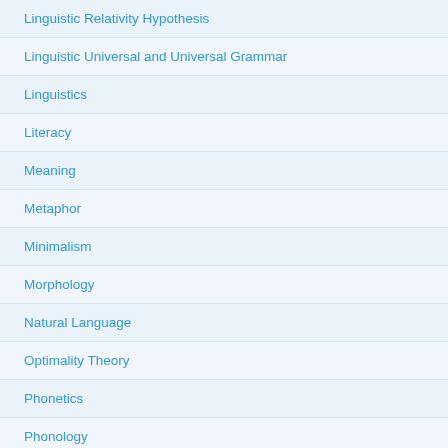Linguistic Relativity Hypothesis
Linguistic Universal and Universal Grammar
Linguistics
Literacy
Meaning
Metaphor
Minimalism
Morphology
Natural Language
Optimality Theory
Phonetics
Phonology